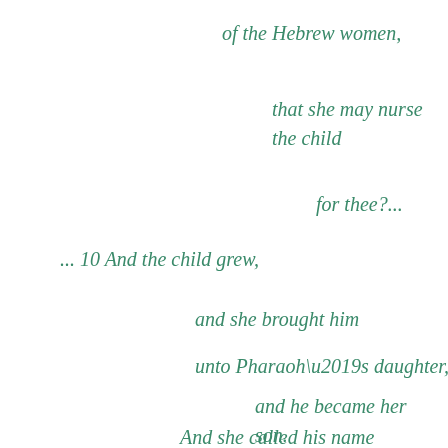of the Hebrew women,
that she may nurse the child
for thee?...
... 10 And the child grew,
and she brought him
unto Pharaoh’s daughter,
and he became her son.
And she called his name